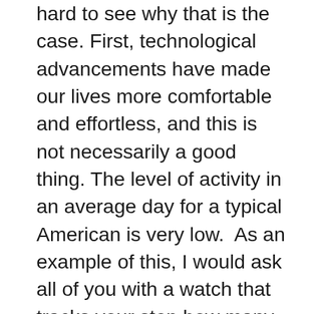hard to see why that is the case. First, technological advancements have made our lives more comfortable and effortless, and this is not necessarily a good thing. The level of activity in an average day for a typical American is very low.  As an example of this, I would ask all of you with a watch that tracks your step how many you see on average.  I am willing to bet it is less than 10,000 and for many, it is less than 7,500.  Think about our ancestors from even 1 or 2 generations ago and about the amount of physical work they did in a day and we will quickly see why